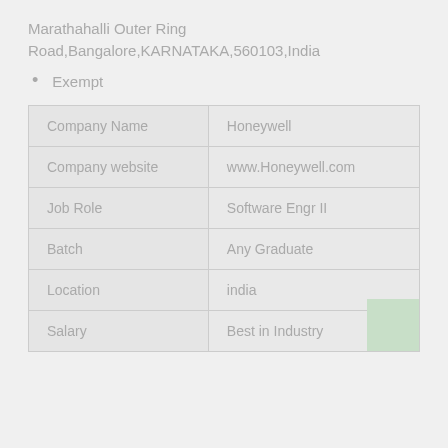Marathahalli Outer Ring Road,Bangalore,KARNATAKA,560103,India
Exempt
| Company Name | Honeywell |
| Company website | www.Honeywell.com |
| Job Role | Software Engr II |
| Batch | Any Graduate |
| Location | india |
| Salary | Best in Industry |